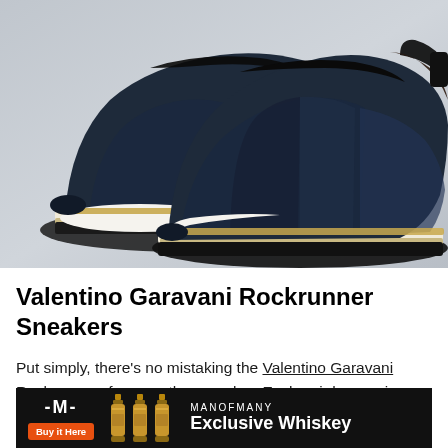[Figure (photo): Product photo of Valentino Garavani Rockrunner Sneakers — navy blue mesh and leather sneakers with white midsole and gold/tan stripe, shown in pairs against a light grey background]
Valentino Garavani Rockrunner Sneakers
Put simply, there's no mistaking the Valentino Garavani Rockrunners for any other sneaker. Each pair harmonises navy uppers of blue mesh and leather with white [midsoles and] leather [detailing]
[Figure (infographic): ManOfMany advertisement banner — black background with M logo, 'Buy it Here' orange button, whiskey bottle illustrations, MANOFMANY branding, and 'Exclusive Whiskey' headline]